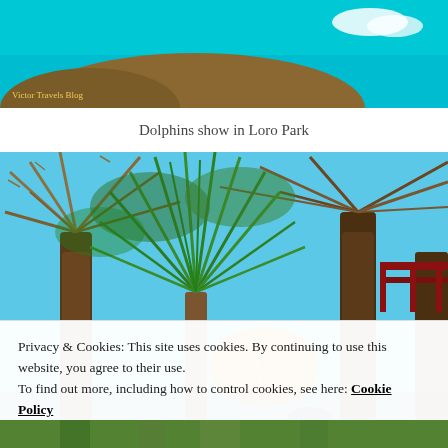[Figure (photo): Top portion of a photo showing turquoise water/pool with a rocky shore, blue sky with cloud, and a small watermark reading 'Victor Travels Blog' in bottom-left corner]
Dolphins show in Loro Park
[Figure (photo): Upward-looking photo of tropical palm trees including a yucca/dragon tree with spiky green leaves in center and large palm trees with dry fronds on sides, blue sky visible between branches, red railing visible at upper right]
Privacy & Cookies: This site uses cookies. By continuing to use this website, you agree to their use.
To find out more, including how to control cookies, see here: Cookie Policy
[Figure (photo): Bottom strip of a photo showing tropical garden scene]